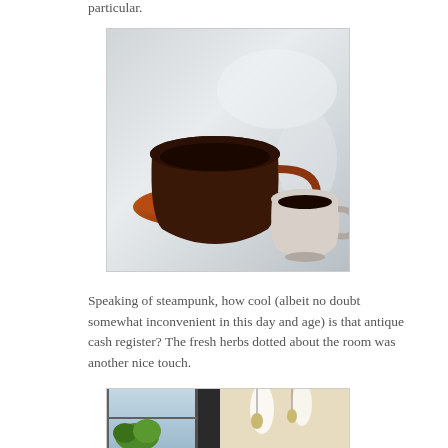particular.
[Figure (photo): Two coffee cups on a metallic surface — a large brown ceramic cup on a saucer and a smaller white espresso cup, both containing dark coffee.]
Speaking of steampunk, how cool (albeit no doubt somewhat inconvenient in this day and age) is that antique cash register? The fresh herbs dotted about the room was another nice touch.
[Figure (photo): Interior of a cafe with large windows, plants, and pendant lighting visible.]